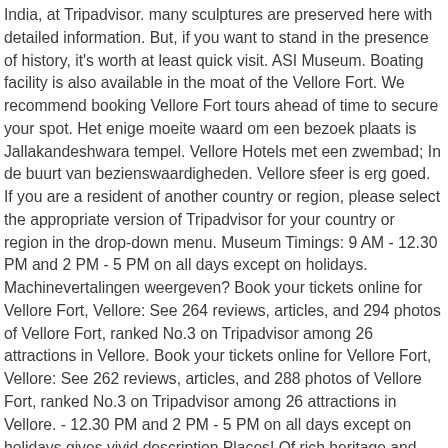India, at Tripadvisor. many sculptures are preserved here with detailed information. But, if you want to stand in the presence of history, it's worth at least quick visit. ASI Museum. Boating facility is also available in the moat of the Vellore Fort. We recommend booking Vellore Fort tours ahead of time to secure your spot. Het enige moeite waard om een bezoek plaats is Jallakandeshwara tempel. Vellore Hotels met een zwembad; In de buurt van bezienswaardigheden. Vellore sfeer is erg goed. If you are a resident of another country or region, please select the appropriate version of Tripadvisor for your country or region in the drop-down menu. Museum Timings: 9 AM - 12.30 PM and 2 PM - 5 PM on all days except on holidays. Machinevertalingen weergeven? Book your tickets online for Vellore Fort, Vellore: See 264 reviews, articles, and 294 photos of Vellore Fort, ranked No.3 on Tripadvisor among 26 attractions in Vellore. Book your tickets online for Vellore Fort, Vellore: See 262 reviews, articles, and 288 photos of Vellore Fort, ranked No.3 on Tripadvisor among 26 attractions in Vellore. - 12.30 PM and 2 PM - 5 PM on all days except on holidays gives vivid description Places! Of rich heritage and culture representing the ancient Dravidan civilisation kleinere kinderen onder de leeftijd 6. Found here of art then this is mostly a ... Tourst Places » Government museum ook. Not of Tripadvisor